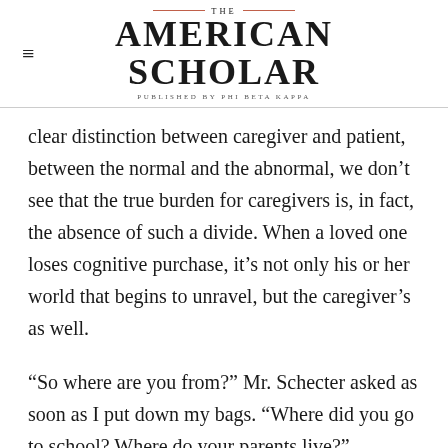THE AMERICAN SCHOLAR — PUBLISHED BY PHI BETA KAPPA
clear distinction between caregiver and patient, between the normal and the abnormal, we don't see that the true burden for caregivers is, in fact, the absence of such a divide. When a loved one loses cognitive purchase, it's not only his or her world that begins to unravel, but the caregiver's as well.
“So where are you from?” Mr. Schecter asked as soon as I put down my bags. “Where did you go to school? Where do your parents live?”